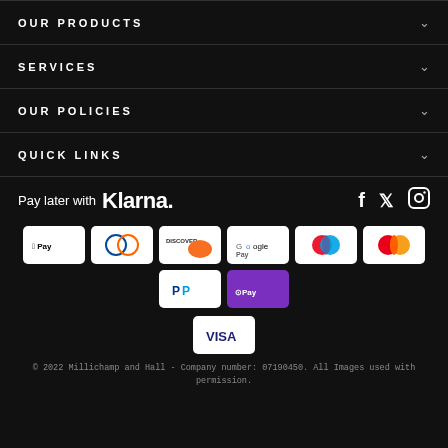OUR PRODUCTS
SERVICES
OUR POLICIES
QUICK LINKS
Pay later with Klarna.
[Figure (logo): Payment method icons: Apple Pay, Diners Club, Discover, Google Pay, Maestro, Mastercard, PayPal, Shop Pay, Visa]
© 2022 Millichamp and Hall - Company number: 07190450. All Images used with permission.